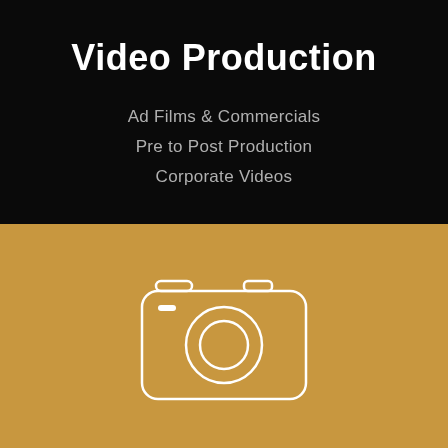Video Production
Ad Films & Commercials
Pre to Post Production
Corporate Videos
[Figure (illustration): White outline icon of a camera on a golden/tan background]